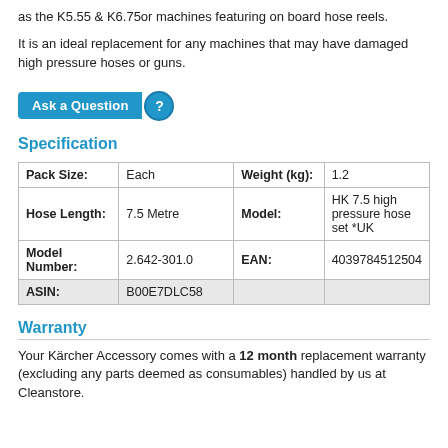as the K5.55 & K6.75or machines featuring on board hose reels.
It is an ideal replacement for any machines that may have damaged high pressure hoses or guns.
[Figure (other): Ask a Question button with blue background and question mark circle icon]
Specification
| Pack Size: | Each | Weight (kg): | 1.2 |
| Hose Length: | 7.5 Metre | Model: | HK 7.5 high pressure hose set *UK |
| Model Number: | 2.642-301.0 | EAN: | 4039784512504 |
| ASIN: | B00E7DLC58 |  |  |
Warranty
Your Kärcher Accessory comes with a 12 month replacement warranty (excluding any parts deemed as consumables) handled by us at Cleanstore.